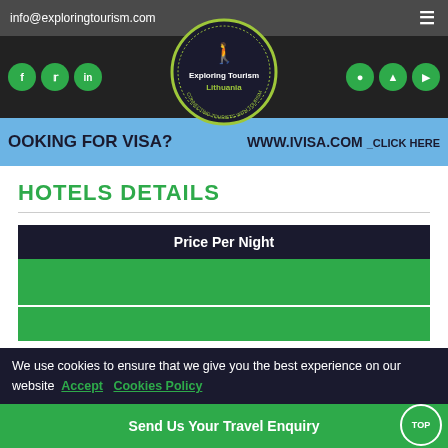info@exploringtourism.com
[Figure (logo): Exploring Tourism Lithuania logo — circular badge with hiker silhouette and text 'Exploring Tourism Lithuania, Connecting Tourists With Tourism']
[Figure (infographic): Visa banner: 'OOKING FOR VISA? WWW.IVISA.COM _CLICK HERE']
HOTELS DETAILS
| Price Per Night |
| --- |
|  |
|  |
We use cookies to ensure that we give you the best experience on our website  Accept  Cookies Policy
Send Us Your Travel Enquiry